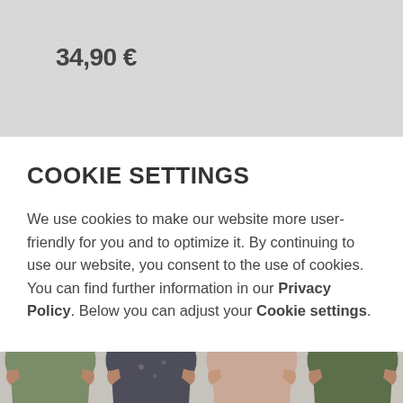34,90 €
COOKIE SETTINGS
We use cookies to make our website more user-friendly for you and to optimize it. By continuing to use our website, you consent to the use of cookies. You can find further information in our Privacy Policy. Below you can adjust your Cookie settings.
[Figure (photo): Four female models wearing t-shirts in different colors: olive green, dark gray, blush pink, and dark olive green, partially visible from shoulders down]